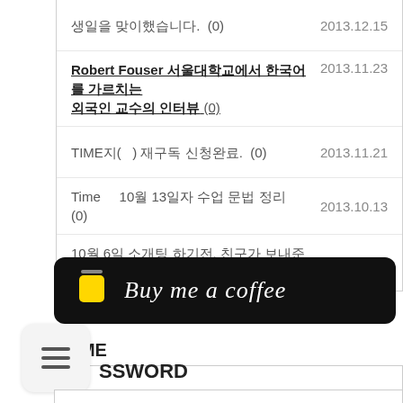생일을 맞이했습니다. (0)
Robert Fouser 서울대학교에서 한국어를 가르치는 외국인 교수의 인터뷰 (0)
TIME지(  ) 재구독 신청완료. (0)
Time  10월 13일자 수업 문법 정리 (0)
10월 6일 소개팅 하기전, 친구가 보내준 그림 (0)
[Figure (screenshot): Black rounded button with coffee cup icon and text 'Buy me a coffee' in cursive white font]
NAME
[Figure (screenshot): Empty white input box for NAME field]
SSWORD
[Figure (screenshot): Menu hamburger icon overlay in bottom left corner]
[Figure (screenshot): Partial password input box visible at bottom]